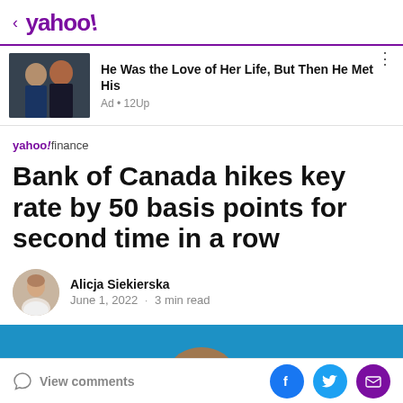< yahoo!
[Figure (photo): Ad thumbnail showing a man and woman couple]
He Was the Love of Her Life, But Then He Met His
Ad • 12Up
yahoo!finance
Bank of Canada hikes key rate by 50 basis points for second time in a row
[Figure (photo): Author headshot of Alicja Siekierska]
Alicja Siekierska
June 1, 2022 · 3 min read
View comments